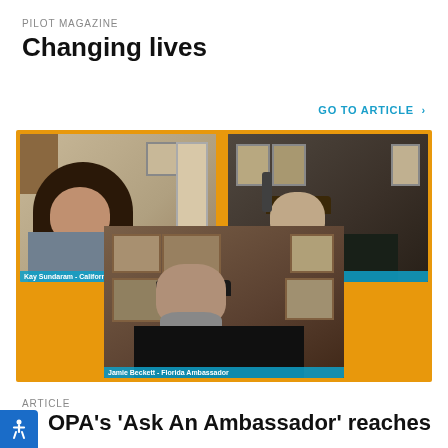PILOT MAGAZINE
Changing lives
GO TO ARTICLE >
[Figure (screenshot): Video call screenshot showing three participants: Kay Sundaram - California Ambassador (top left), Pat Brown - Texas Ambassador (top right), and Jamie Beckett - Florida Ambassador (bottom center), displayed on an orange background.]
ARTICLE
OPA's 'Ask An Ambassador' reaches